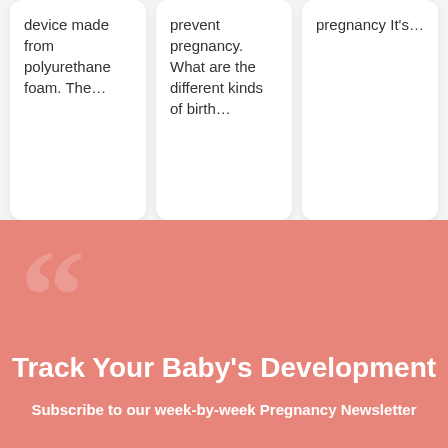device made from polyurethane foam. The…
prevent pregnancy. What are the different kinds of birth…
pregnancy It's…
Track Your Baby's Development
Subscribe to our week-by-week Pregnancy Newsletter